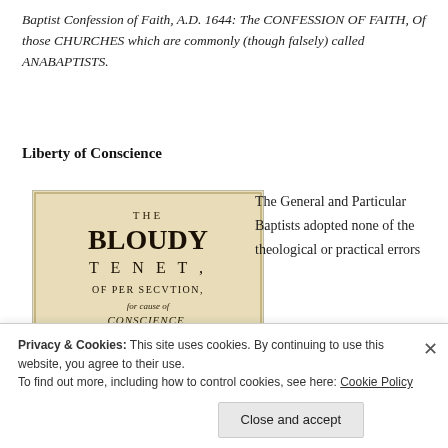Baptist Confession of Faith, A.D. 1644: The CONFESSION OF FAITH, Of those CHURCHES which are commonly (though falsely) called ANABAPTISTS.
Liberty of Conscience
[Figure (photo): Title page of 'The Bloudy Tenet, of Persecution, for cause of Conscience, discussed, in A Conference betweene Truth and Peace, Who, In all tender affection, present to the...' — an old printed book page with blackletter and italic typography on aged paper.]
The General and Particular Baptists adopted none of the theological or practical errors
Privacy & Cookies: This site uses cookies. By continuing to use this website, you agree to their use.
To find out more, including how to control cookies, see here: Cookie Policy
Close and accept